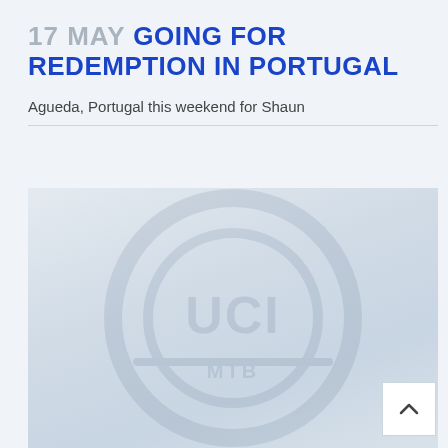17 MAY GOING FOR REDEMPTION IN PORTUGAL
Agueda, Portugal this weekend for Shaun
[Figure (photo): Faded/washed-out photo with a faint logo or figure watermark, very light blue-grey tones, likely a cycling or sports event image]
[Figure (other): Scroll-up navigation button (chevron/caret up icon) in white box with border]